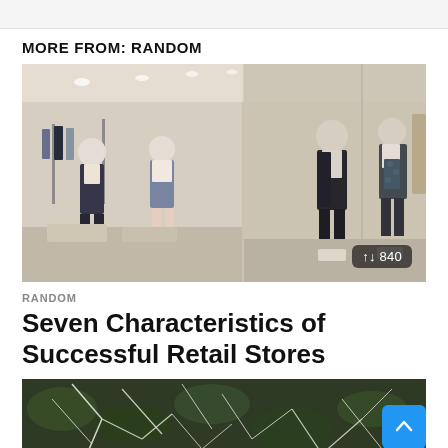MORE FROM: RANDOM
[Figure (photo): Interior of a retail clothing store with glass display windows showing mannequins dressed in various outfits including dark coats and casual wear. Store interior visible in background with clothing racks and display tables.]
RANDOM
Seven Characteristics of Successful Retail Stores
[Figure (photo): Close-up photo of plant roots or tangled white organic fibers against a dark green leafy background, partially visible at bottom of page.]